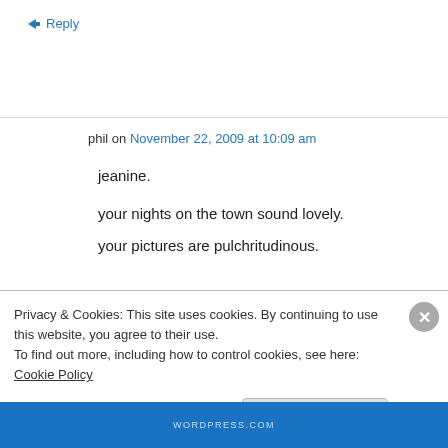↳ Reply
phil on November 22, 2009 at 10:09 am
jeanine.

your nights on the town sound lovely.
your pictures are pulchritudinous.
Privacy & Cookies: This site uses cookies. By continuing to use this website, you agree to their use.
To find out more, including how to control cookies, see here: Cookie Policy
Close and accept